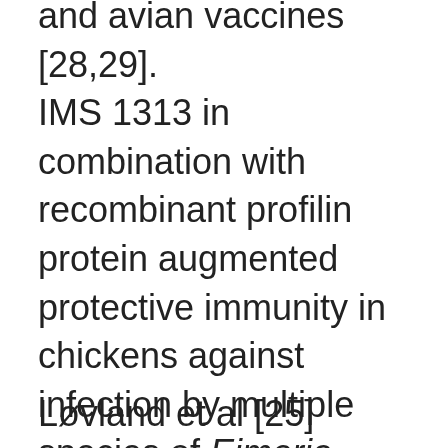and avian vaccines [28,29]. IMS 1313 in combination with recombinant profilin protein augmented protective immunity in chickens against infection by multiple species of Eimeria compared with vaccination with profilin alone [29].
Løvland et al [25] reported